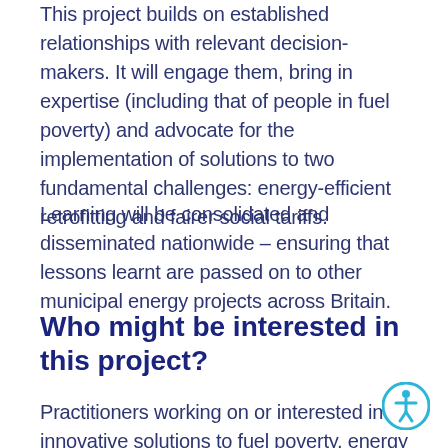This project builds on established relationships with relevant decision-makers. It will engage them, bring in expertise (including that of people in fuel poverty) and advocate for the implementation of solutions to two fundamental challenges: energy-efficient retrofitting and fairer social tariffs.
Learning will be consolidated and disseminated nationwide – ensuring that lessons learnt are passed on to other municipal energy projects across Britain.
Who might be interested in this project?
Practitioners working on or interested in innovative solutions to fuel poverty, energy